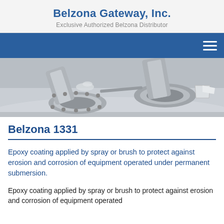Belzona Gateway, Inc.
Exclusive Authorized Belzona Distributor
[Figure (photo): Industrial pipe fittings and flanges inside a tank or vessel, coated with light-colored epoxy coating, viewed from above.]
Belzona 1331
Epoxy coating applied by spray or brush to protect against erosion and corrosion of equipment operated under permanent submersion.
Epoxy coating applied by spray or brush to protect against erosion and corrosion of equipment operated